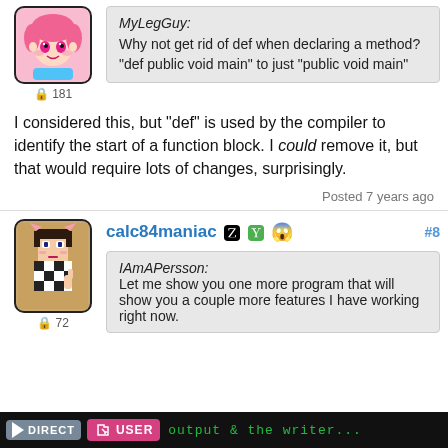[Figure (illustration): Anime-style avatar with pink hair in rounded square frame]
181
MyLegGuy:
Why not get rid of def when declaring a method?
"def public void main" to just "public void main"
I considered this, but "def" is used by the compiler to identify the start of a function block. I could remove it, but that would require lots of changes, surprisingly.
Posted 7 years ago
[Figure (illustration): Pixel art avatar of character with cat ears in rounded square frame]
72
calc84maniac  #8
IAmAPersson:
Let me show you one more program that will show you a couple more features I have working right now.